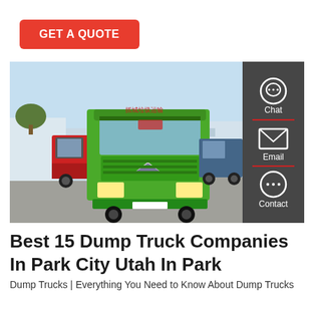GET A QUOTE
[Figure (photo): Front view of a green Sinotruk HOWO dump truck parked in a lot with other trucks (red and blue) and industrial buildings in background. A sidebar with Chat, Email, and Contact icons is overlaid on the right side of the image.]
Best 15 Dump Truck Companies In Park City Utah In Park
Dump Trucks | Everything You Need to Know About Dump Trucks